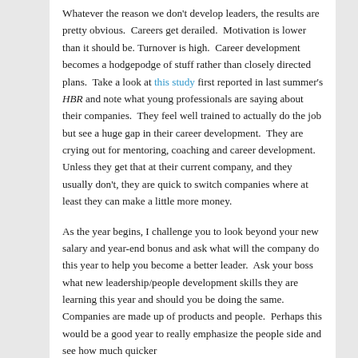Whatever the reason we don't develop leaders, the results are pretty obvious.  Careers get derailed.  Motivation is lower than it should be. Turnover is high.  Career development becomes a hodgepodge of stuff rather than closely directed plans.  Take a look at this study first reported in last summer's HBR and note what young professionals are saying about their companies.  They feel well trained to actually do the job but see a huge gap in their career development.  They are crying out for mentoring, coaching and career development.  Unless they get that at their current company, and they usually don't, they are quick to switch companies where at least they can make a little more money.
As the year begins, I challenge you to look beyond your new salary and year-end bonus and ask what will the company do this year to help you become a better leader.  Ask your boss what new leadership/people development skills they are learning this year and should you be doing the same.  Companies are made up of products and people.  Perhaps this would be a good year to really emphasize the people side and see how much quicker